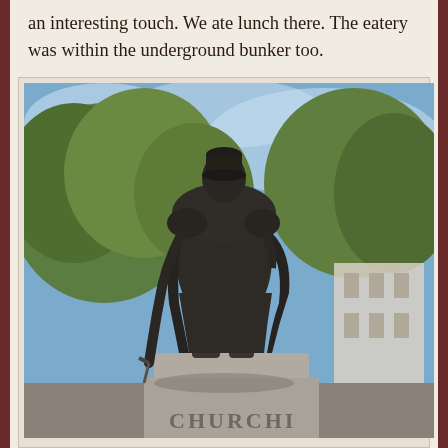an interesting touch. We ate lunch there. The eatery was within the underground bunker too.
[Figure (photo): Bronze statue of Winston Churchill on a stone pedestal with 'CHURCHILL' inscribed, set against trees and a blue sky background. The statue shows Churchill in a long overcoat, leaning on a walking stick.]